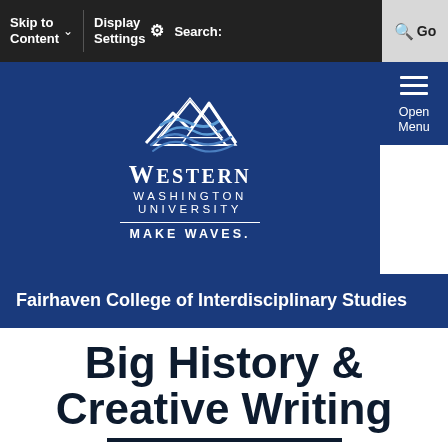Skip to Content | Display Settings | Search: | Go
[Figure (logo): Western Washington University logo with mountain peaks graphic, text 'WESTERN WASHINGTON UNIVERSITY' and tagline 'MAKE WAVES.']
Open Menu
Fairhaven College of Interdisciplinary Studies
Big History & Creative Writing
CRN